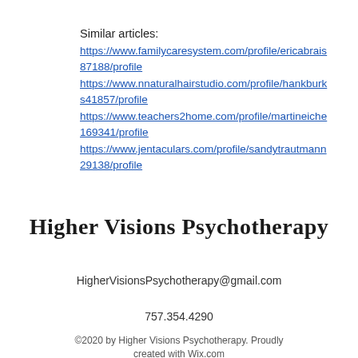Similar articles:
https://www.familycaresystem.com/profile/ericabrais87188/profile
https://www.nnaturalhairstudio.com/profile/hankburks41857/profile
https://www.teachers2home.com/profile/martineiche169341/profile
https://www.jentaculars.com/profile/sandytrautmann29138/profile
Higher Visions Psychotherapy
HigherVisionsPsychotherapy@gmail.com
757.354.4290
©2020 by Higher Visions Psychotherapy. Proudly created with Wix.com